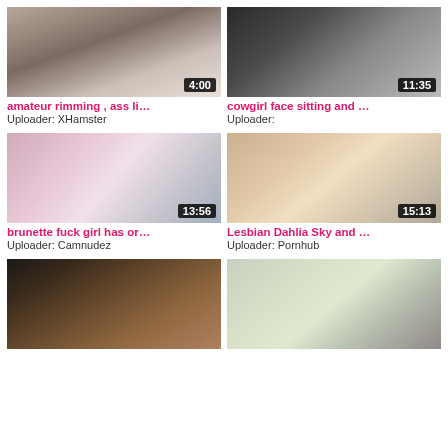[Figure (photo): Video thumbnail with duration badge 4:00]
amateur rimming , ass li...
Uploader: XHamster
[Figure (photo): Video thumbnail with duration badge 11:35]
cowgirl face sitting and ...
Uploader:
[Figure (photo): Video thumbnail with duration badge 13:56]
brunette fuck girl has or...
Uploader: Camnudez
[Figure (photo): Video thumbnail with duration badge 15:13]
Lesbian Dahlia Sky and ...
Uploader: Pornhub
[Figure (photo): Video thumbnail, bottom left, no badge visible]
[Figure (photo): Video thumbnail, bottom right, no badge visible]